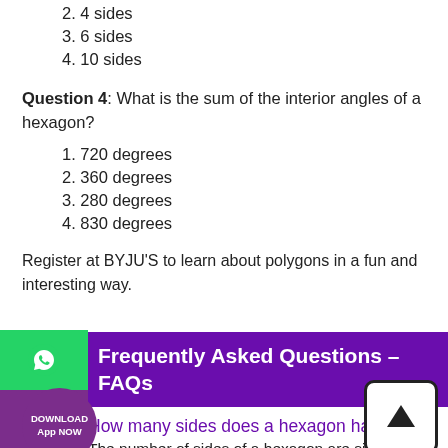2. 4 sides
3. 6 sides
4. 10 sides
Question 4: What is the sum of the interior angles of a hexagon?
1. 720 degrees
2. 360 degrees
3. 280 degrees
4. 830 degrees
Register at BYJU'S to learn about polygons in a fun and interesting way.
Frequently Asked Questions – FAQs
How many sides does a hexagon has?
The number of sides of a hexagon are six
How many angles are there in a hexagon?